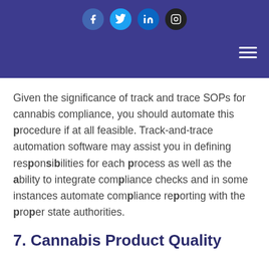[Figure (other): Website header bar with social media icons (Facebook, Twitter, LinkedIn, Instagram) and a hamburger menu icon on a dark indigo/purple background]
Given the significance of track and trace SOPs for cannabis compliance, you should automate this procedure if at all feasible. Track-and-trace automation software may assist you in defining responsibilities for each process as well as the ability to integrate compliance checks and in some instances automate compliance reporting with the proper state authorities.
7. Cannabis Product Quality